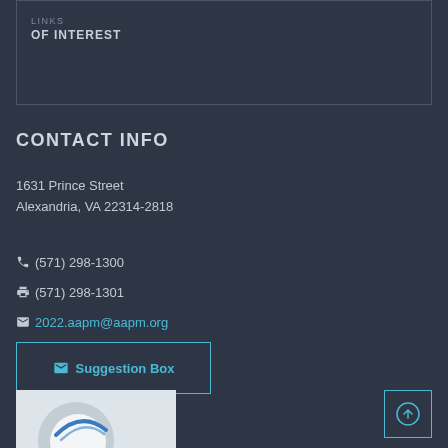LINKS OF INTEREST
CONTACT INFO
1631 Prince Street
Alexandria, VA 22314-2818
(571) 298-1300
(571) 298-1301
2022.aapm@aapm.org
Suggestion Box
[Figure (photo): Partial photo visible at bottom left, appears to show a medical or scientific device with blue/white coloring]